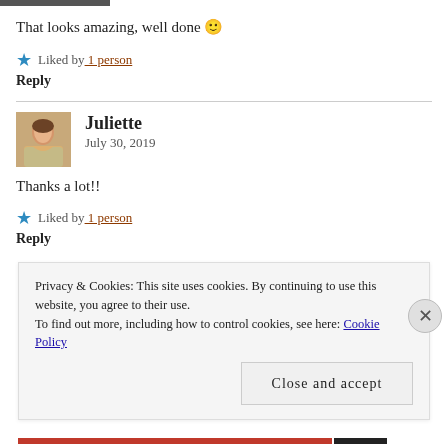That looks amazing, well done 🙂
Liked by 1 person
Reply
[Figure (photo): Avatar photo of Juliette]
Juliette
July 30, 2019
Thanks a lot!!
Liked by 1 person
Reply
Privacy & Cookies: This site uses cookies. By continuing to use this website, you agree to their use.
To find out more, including how to control cookies, see here: Cookie Policy
Close and accept